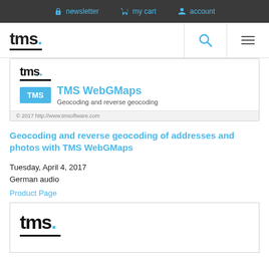newsletter  my cart  account
[Figure (logo): TMS software logo with tms. text and underline in header]
[Figure (screenshot): Product card showing TMS WebGMaps with logo badge, title 'TMS WebGMaps', tagline 'Geocoding and reverse geocoding', and copyright footer '© 2017 http://www.tmsoftware.com']
Geocoding and reverse geocoding of addresses and photos with TMS WebGMaps
Tuesday, April 4, 2017
German audio
Product Page
[Figure (logo): TMS software logo with large tms. text and blue dot, partially visible at bottom of page]